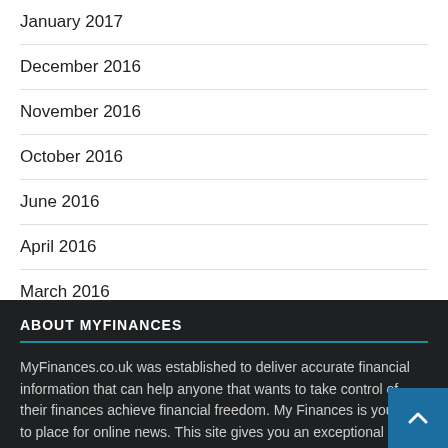January 2017
December 2016
November 2016
October 2016
June 2016
April 2016
March 2016
December 2015
ABOUT MYFINANCES
MyFinances.co.uk was established to deliver accurate financial information that can help anyone that wants to take control of their finances achieve financial freedom. My Finances is your go-to place for online news. This site gives you an exceptional variety of